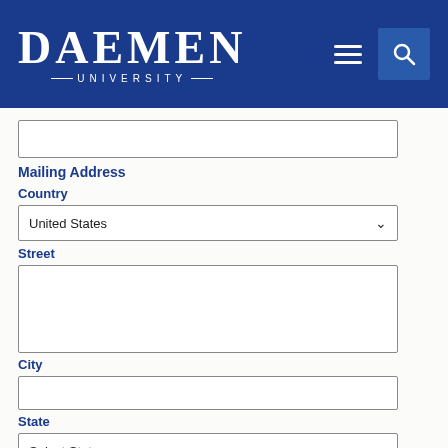DAEMEN UNIVERSITY
Mailing Address
Country
United States
Street
City
State
Select State
Postal Code
Parent Email